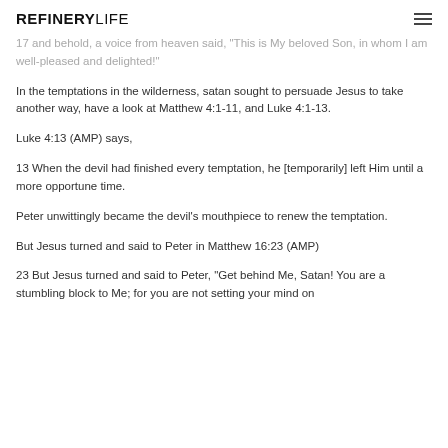REFINERYLIFE
17 and behold, a voice from heaven said, "This is My beloved Son, in whom I am well-pleased and delighted!"
In the temptations in the wilderness, satan sought to persuade Jesus to take another way, have a look at Matthew 4:1-11, and Luke 4:1-13.
Luke 4:13 (AMP) says,
13 When the devil had finished every temptation, he [temporarily] left Him until a more opportune time.
Peter unwittingly became the devil's mouthpiece to renew the temptation.
But Jesus turned and said to Peter in Matthew 16:23 (AMP)
23 But Jesus turned and said to Peter, "Get behind Me, Satan! You are a stumbling block to Me; for you are not setting your mind on...